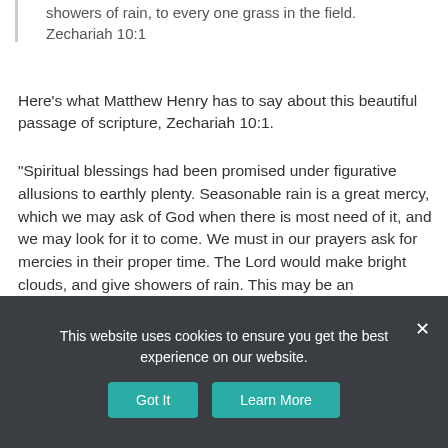showers of rain, to every one grass in the field. Zechariah 10:1
Here’s what Matthew Henry has to say about this beautiful passage of scripture, Zechariah 10:1.
“Spiritual blessings had been promised under figurative allusions to earthly plenty. Seasonable rain is a great mercy, which we may ask of God when there is most need of it, and we may look for it to come. We must in our prayers ask for mercies in their proper time. The Lord would make bright clouds, and give showers of rain. This may be an exhortation to seek the influences of the Holy Spirit, in faith and by prayer, through which the blessings held forth in the promises are obtained and enjoyed.”
This website uses cookies to ensure you get the best experience on our website.